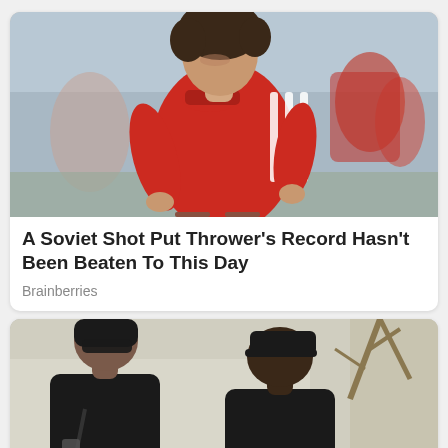[Figure (photo): A woman in a red Adidas athletic shirt with curly hair looking downward, with a blurred crowd in the background — appears to be a shot put thrower at a sporting event.]
A Soviet Shot Put Thrower's Record Hasn't Been Beaten To This Day
Brainberries
[Figure (photo): A woman with dark hair in a black outfit and sunglasses walking alongside a man in a black cap and black t-shirt, outdoors with trees in the background.]